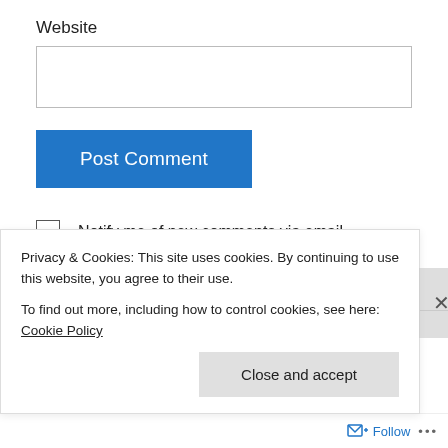Website
Post Comment
Notify me of new comments via email.
Notify me of new posts via email.
Caryl on August 4, 2016 at 9:14 am
Privacy & Cookies: This site uses cookies. By continuing to use this website, you agree to their use.
To find out more, including how to control cookies, see here: Cookie Policy
Close and accept
Follow